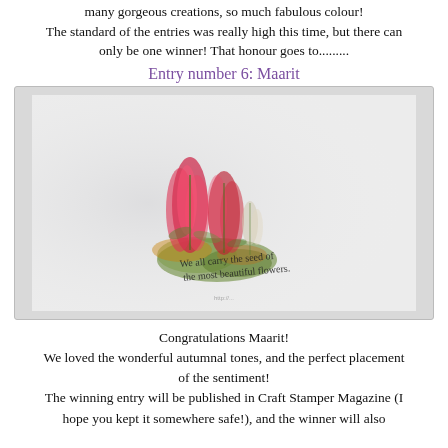many gorgeous creations, so much fabulous colour! The standard of the entries was really high this time, but there can only be one winner! That honour goes to.........
Entry number 6: Maarit
[Figure (photo): A handmade greeting card featuring watercolor flowers (red/pink feathery blooms resembling astilbe or celosia) with green foliage, and a cursive black script sentiment reading 'We all carry the seed of the most beautiful flowers.' The card is white textured cardstock, propped up on a white surface. A watermark and blog URL are visible at the bottom.]
Congratulations Maarit! We loved the wonderful autumnal tones, and the perfect placement of the sentiment! The winning entry will be published in Craft Stamper Magazine (I hope you kept it somewhere safe!), and the winner will also